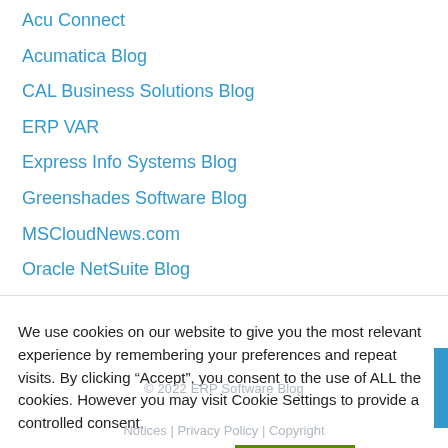Acu Connect
Acumatica Blog
CAL Business Solutions Blog
ERP VAR
Express Info Systems Blog
Greenshades Software Blog
MSCloudNews.com
Oracle NetSuite Blog
We use cookies on our website to give you the most relevant experience by remembering your preferences and repeat visits. By clicking “Accept”, you consent to the use of ALL the cookies. However you may visit Cookie Settings to provide a controlled consent.
© 2022 ERP Software Blog
Notices | Privacy Policy | Copyright